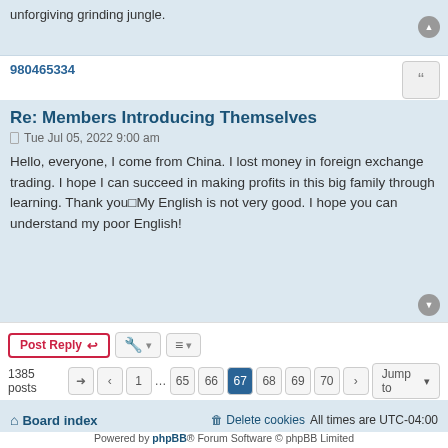unforgiving grinding jungle.
980465334
Re: Members Introducing Themselves
Tue Jul 05, 2022 9:00 am
Hello, everyone, I come from China. I lost money in foreign exchange trading. I hope I can succeed in making profits in this big family through learning. Thank you■My English is not very good. I hope you can understand my poor English!
Post Reply
1385 posts  1 ... 65 66 67 68 69 70
Jump to
Board index   Delete cookies   All times are UTC-04:00
Powered by phpBB® Forum Software © phpBB Limited  Privacy | Terms